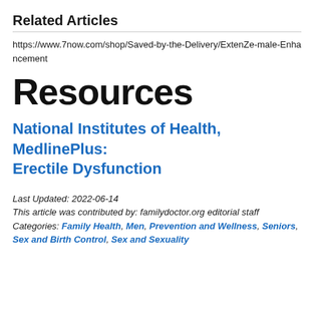Related Articles
https://www.7now.com/shop/Saved-by-the-Delivery/ExtenZe-male-Enhancement
Resources
National Institutes of Health, MedlinePlus: Erectile Dysfunction
Last Updated: 2022-06-14
This article was contributed by: familydoctor.org editorial staff
Categories: Family Health, Men, Prevention and Wellness, Seniors, Sex and Birth Control, Sex and Sexuality